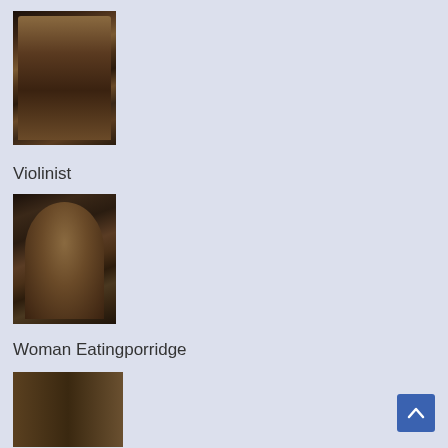[Figure (photo): Painting showing a figure in an arched window with draped fabric and decorative elements]
Violinist
[Figure (photo): Painting of a violinist seated in an arched niche with draped fabric]
Woman Eatingporridge
[Figure (photo): Painting partially visible showing interior architectural elements]